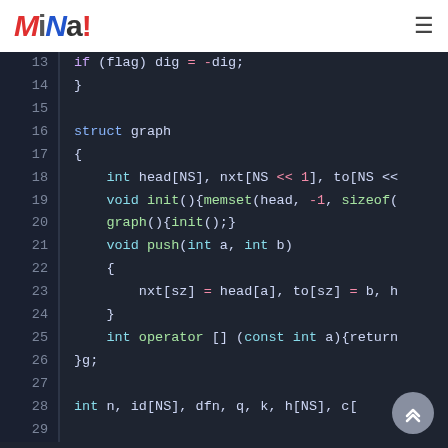MiNa!
[Figure (screenshot): Code editor screenshot showing C++ code for a graph data structure, lines 13–29, dark theme with syntax highlighting. Keywords in cyan/blue, numbers in pink, function names in green.]